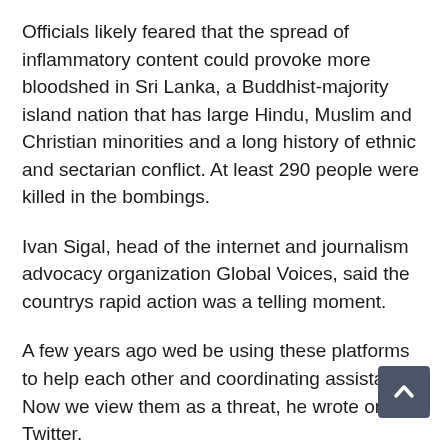Officials likely feared that the spread of inflammatory content could provoke more bloodshed in Sri Lanka, a Buddhist-majority island nation that has large Hindu, Muslim and Christian minorities and a long history of ethnic and sectarian conflict. At least 290 people were killed in the bombings.
Ivan Sigal, head of the internet and journalism advocacy organization Global Voices, said the countrys rapid action was a telling moment.
A few years ago wed be using these platforms to help each other and coordinating assistance. Now we view them as a threat, he wrote on Twitter.
If I were Facebook and WhatsApp Id take a moment to ask myself where Id gone wrong, he said. Cannot think of a clearer signal for lack of platform trust.
It wasnt the first time Sri Lanka has blocked social media. The government imposed a weeklong ban in March 2018 because